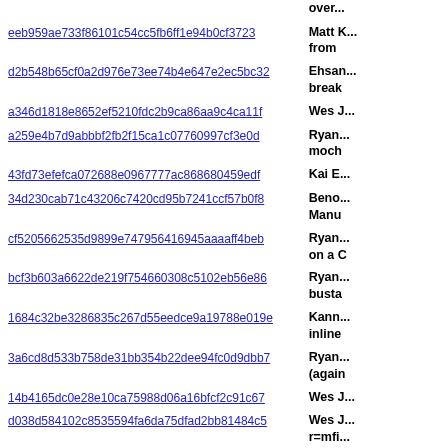| Hash | Author |
| --- | --- |
| eeb959ae733f86101c54cc5fb6ff1e94b0cf3723 | Matt K... from |
| d2b548b65cf0a2d976e73ee74b4e647e2ec5bc32 | Ehsan... break |
| a346d1818e8652ef5210fdc2b9ca86aa9c4ca11f | Wes J... |
| a259e4b7d9abbbf2fb2f15ca1c07760997cf3e0d | Ryan... moch |
| 43fd73efefca072688e0967777ac868680459edf | Kai E... |
| 34d230cab71c43206c7420cd95b7241ccf57b0f8 | Beno... Manu |
| cf5205662535d9899e747956416945aaaaff4beb | Ryan... on a C |
| bcf3b603a6622de219f754660308c5102eb56e86 | Ryan... busta |
| 1684c32be3286835c267d55eedce9a19788e019e | Kann... inline |
| 3a6cd8d533b758de31bb354b22dee94fc0d9dbb7 | Ryan... (again |
| 14b4165dc0e28e10ca75988d06a16bfcf2c91c67 | Wes J... |
| d038d584102c8535594fa6da75dfad2bb81484c5 | Wes J... r=mfi |
| 4e0f0d13afd3c731de78aa74625fa6a38a3d9d98 | Josia... windo |
| 9c6f5f334a15584a1b3749ca55505105d22c6486 | Andre... overr |
| 149475141471abb3838b8815274ba4e540c0eb14 | Marti... r=kar |